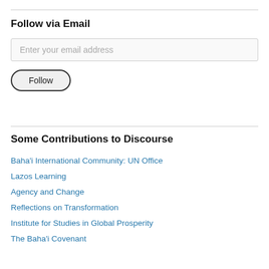Follow via Email
Enter your email address
Follow
Some Contributions to Discourse
Baha'i International Community: UN Office
Lazos Learning
Agency and Change
Reflections on Transformation
Institute for Studies in Global Prosperity
The Baha'i Covenant